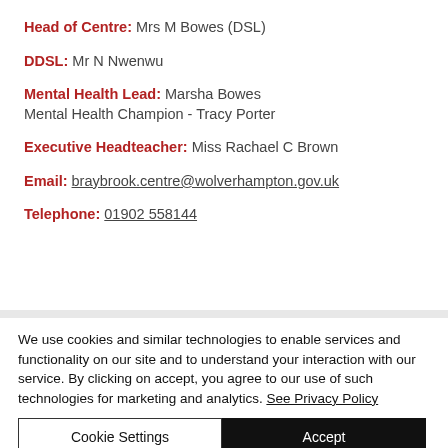Head of Centre: Mrs M Bowes (DSL)
DDSL: Mr N Nwenwu
Mental Health Lead: Marsha Bowes
Mental Health Champion - Tracy Porter
Executive Headteacher: Miss Rachael C Brown
Email: braybrook.centre@wolverhampton.gov.uk
Telephone: 01902 558144
We use cookies and similar technologies to enable services and functionality on our site and to understand your interaction with our service. By clicking on accept, you agree to our use of such technologies for marketing and analytics. See Privacy Policy